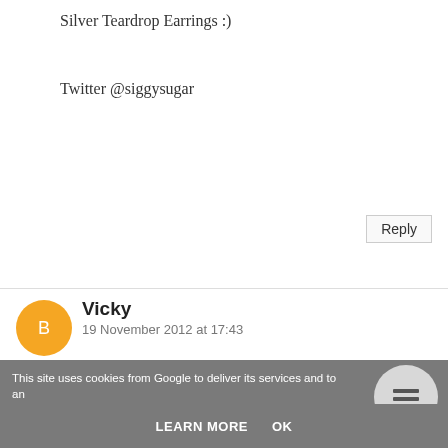Silver Teardrop Earrings :)
Twitter @siggysugar
Reply
Vicky
19 November 2012 at 17:43
The silver solitaire necklace & earring set is something I would put on my list of things I would like!
Reply
This site uses cookies from Google to deliver its services and to analyse traffic. Your IP address and user-agent are shared with Google along with performance and security metrics to ensure quality of service, generate usage statistics, and to detect and address abuse.
LEARN MORE
OK